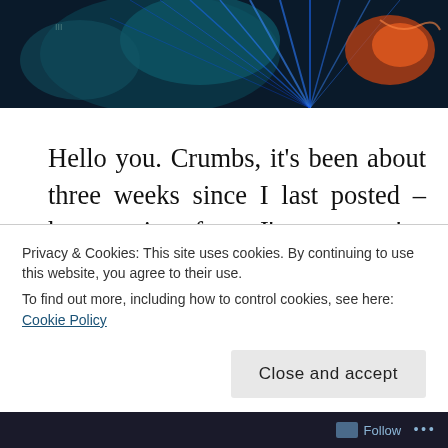[Figure (photo): Dark atmospheric photo with blue fan/peacock feather-like lighting and orange/red accent light on the right side, over a dark background with teal and blue hues]
Hello you. Crumbs, it's been about three weeks since I last posted – how remiss of me, I'm sure you've been utterly bereft. But I wouldn't want you to think this was due to lack of effort or inclination on my part, it's just been such a busy few weeks round here that there's barely been time to stop for tea, let alone bang out another breathless update, so if you'll excuse me I'll just give you a
Privacy & Cookies: This site uses cookies. By continuing to use this website, you agree to their use.
To find out more, including how to control cookies, see here: Cookie Policy
Close and accept
Follow